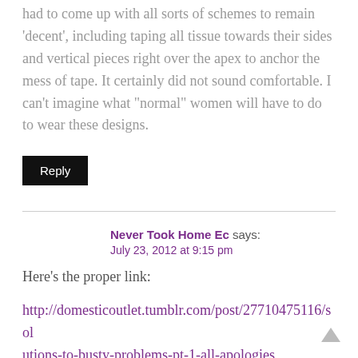had to come up with all sorts of schemes to remain 'decent', including taping all tissue towards their sides and vertical pieces right over the apex to anchor the mess of tape. It certainly did not sound comfortable. I can't imagine what "normal" women will have to do to wear these designs.
Reply
Never Took Home Ec says:
July 23, 2012 at 9:15 pm
Here's the proper link:
http://domesticoutlet.tumblr.com/post/27710475116/solutions-to-busty-problems-pt-1-all-apologies
I wish the captions could be longer, because I really could